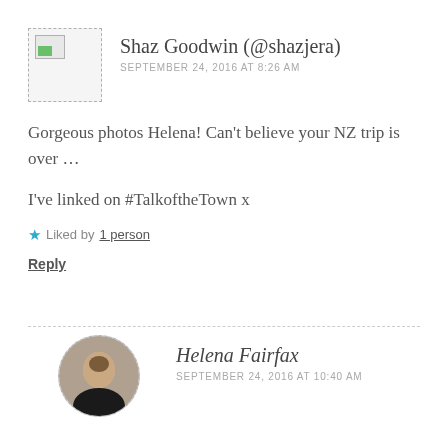Shaz Goodwin (@shazjera)
SEPTEMBER 24, 2016 AT 8:26 AM
Gorgeous photos Helena! Can't believe your NZ trip is over …
I've linked on #TalkoftheTown x
★ Liked by 1 person
Reply
Helena Fairfax
SEPTEMBER 24, 2016 AT 10:40 AM